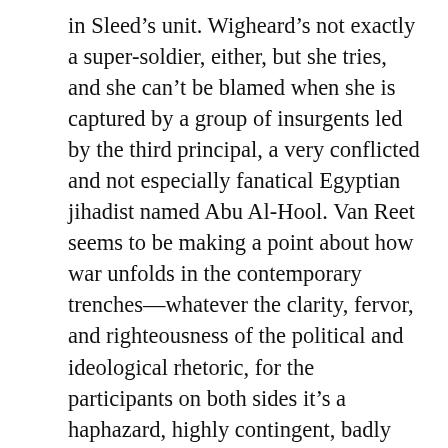in Sleed's unit. Wigheard's not exactly a super-soldier, either, but she tries, and she can't be blamed when she is captured by a group of insurgents led by the third principal, a very conflicted and not especially fanatical Egyptian jihadist named Abu Al-Hool. Van Reet seems to be making a point about how war unfolds in the contemporary trenches—whatever the clarity, fervor, and righteousness of the political and ideological rhetoric, for the participants on both sides it's a haphazard, highly contingent, badly conceptualized and realized mess that's likely to get them killed through sheer sloppiness. We can see Sleed as Van Reet's alter ego, while Al-Hool joins the Pashtun protagonist of Elliot Ackerman's Green